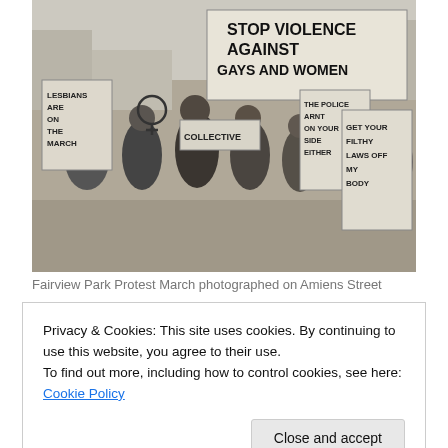[Figure (photo): Black and white photograph of the Fairview Park Protest March on Amiens Street. Protesters carry signs reading 'STOP VIOLENCE AGAINST GAYS AND WOMEN', 'LESBIANS ARE ON THE MARCH', 'THE POLICE ARNT ON YOUR SIDE EITHER', 'GET YOUR FILTHY LAWS OFF MY BODY', and 'COLLECTIVE'.]
Fairview Park Protest March photographed on Amiens Street
Privacy & Cookies: This site uses cookies. By continuing to use this website, you agree to their use.
To find out more, including how to control cookies, see here: Cookie Policy